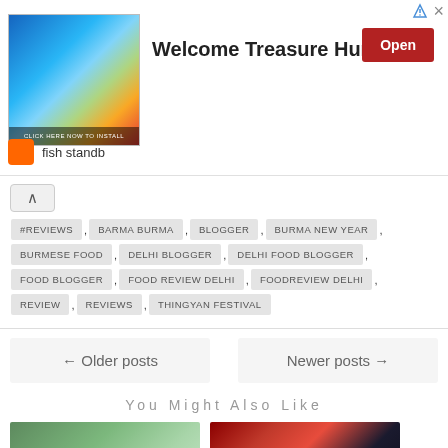[Figure (screenshot): Advertisement banner showing a game image with dragon/dinosaur on the left, 'Welcome Treasure Hunter' text in center, red 'Open' button on right, and 'fish standb' label at bottom left]
#REVIEWS , BARMA BURMA , BLOGGER , BURMA NEW YEAR , BURMESE FOOD , DELHI BLOGGER , DELHI FOOD BLOGGER , FOOD BLOGGER , FOOD REVIEW DELHI , FOODREVIEW DELHI , REVIEW , REVIEWS , THINGYAN FESTIVAL
← Older posts
Newer posts →
You Might Also Like
[Figure (photo): Two thumbnail photos at bottom - left shows a woman outdoors in green scenery, right shows a man and woman at an event with red decorations]